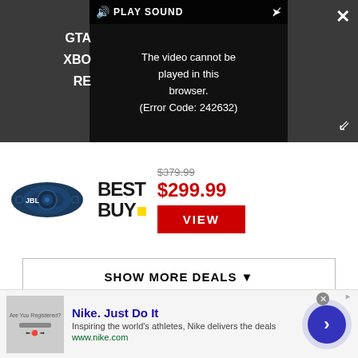[Figure (screenshot): Video player with dark background showing error message: 'The video cannot be played in this browser. (Error Code: 242632)' with PLAY SOUND control bar at top and GTA/XBO/RE text partially visible on left side.]
[Figure (photo): JBL Bluetooth speaker product image (blue/dark colored cylindrical speaker)]
[Figure (logo): Best Buy logo in bold black text with yellow dot]
$379.99
$299.99
VIEW
SHOW MORE DEALS ▼
We check over 250 million products every day for the best prices
Complete your audio collection with the best wireless
[Figure (screenshot): Nike advertisement banner: 'Nike. Just Do It' with tagline 'Inspiring the world's athletes, Nike delivers the deals' and url www.nike.com, with navigation arrow button on right]